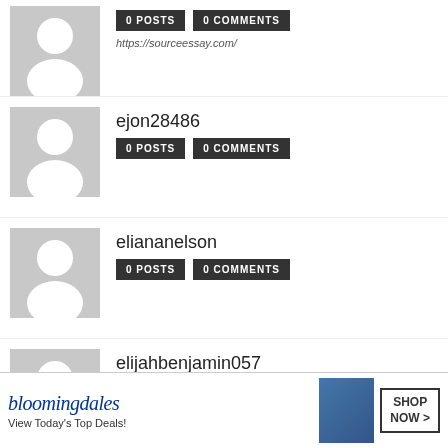0 POSTS  0 COMMENTS
https://sourceessay.com/
ejon28486
0 POSTS  0 COMMENTS
eliananelson
0 POSTS  0 COMMENTS
elijahbenjamin057
0 POSTS  0 COMMENTS
https://www.allassignmenthelp.com/uk/assignment-experts.html
elishaoliverasd
0 POSTS  0 COMMENTS
https://omninos.ca/Mobile-App-development-co...ada.html
[Figure (infographic): Bloomingdales advertisement banner: 'View Today's Top Deals! SHOP NOW >']